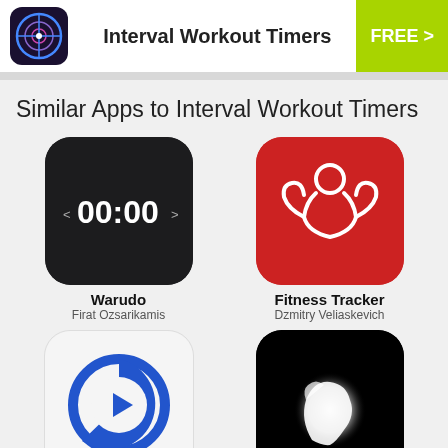Interval Workout Timers | FREE >
Similar Apps to Interval Workout Timers
[Figure (screenshot): Warudo app icon: dark rounded square with white text showing 00:00 and angle brackets]
Warudo
Firat Ozsarikamis
[Figure (screenshot): Fitness Tracker app icon: red rounded square with white muscle/flexing figure outline]
Fitness Tracker
Dzmitry Veliaskevich
[Figure (screenshot): Timed: Workout Timer app icon: white rounded square with blue circle timer/clock graphic]
Timed: Workout Timer
[Figure (screenshot): Workout Timer app icon: black rounded square with white glowing flexing arm silhouette]
Workout Timer